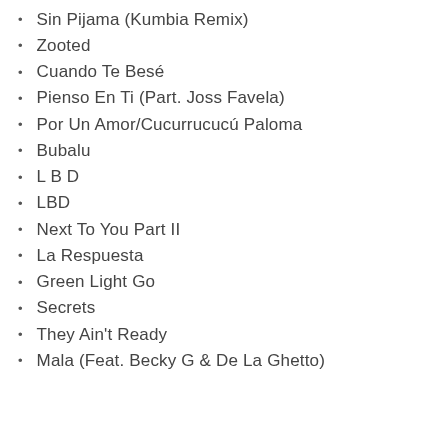Sin Pijama (Kumbia Remix)
Zooted
Cuando Te Besé
Pienso En Ti (Part. Joss Favela)
Por Un Amor/Cucurrucucú Paloma
Bubalu
L B D
LBD
Next To You Part II
La Respuesta
Green Light Go
Secrets
They Ain't Ready
Mala (Feat. Becky G & De La Ghetto)